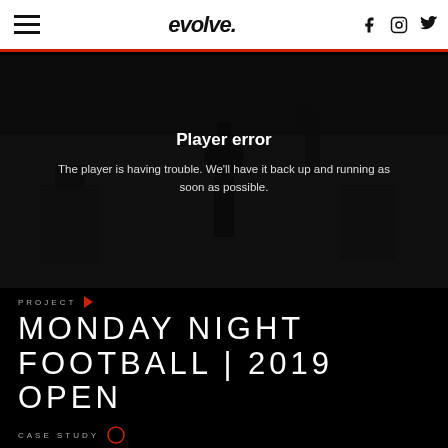evolve
[Figure (screenshot): Video player error screen showing a dark background with a musician silhouette and stage equipment. Overlaid text shows 'Player error' and 'The player is having trouble. We'll have it back up and running as soon as possible.']
Player error
The player is having trouble. We'll have it back up and running as soon as possible.
PROJECT
MONDAY NIGHT FOOTBALL | 2019 OPEN
CASE STUDY